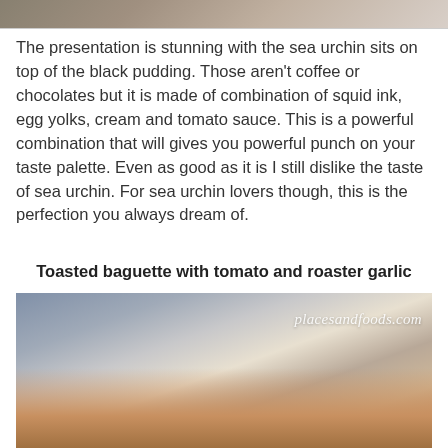[Figure (photo): Partial top of a food photo, cropped at top of page]
The presentation is stunning with the sea urchin sits on top of the black pudding. Those aren't coffee or chocolates but it is made of combination of squid ink, egg yolks, cream and tomato sauce. This is a powerful combination that will gives you powerful punch on your taste palette. Even as good as it is I still dislike the taste of sea urchin. For sea urchin lovers though, this is the perfection you always dream of.
Toasted baguette with tomato and roaster garlic
[Figure (photo): Food photo showing toasted baguette with tomato and roaster garlic, with placesandfoods.com watermark]